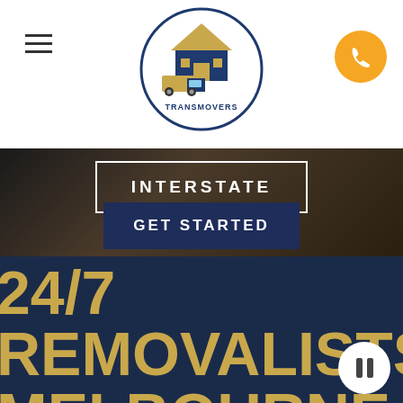[Figure (logo): TransMovers logo - circular logo with truck and house icon, navy and gold colors, company name TRANSMOVERS below]
INTERSTATE
GET STARTED
24/7 REMOVALISTS MELBOURNE SERVICE